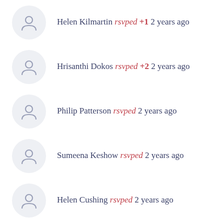Helen Kilmartin rsvped +1 2 years ago
Hrisanthi Dokos rsvped +2 2 years ago
Philip Patterson rsvped 2 years ago
Sumeena Keshow rsvped 2 years ago
Helen Cushing rsvped 2 years ago